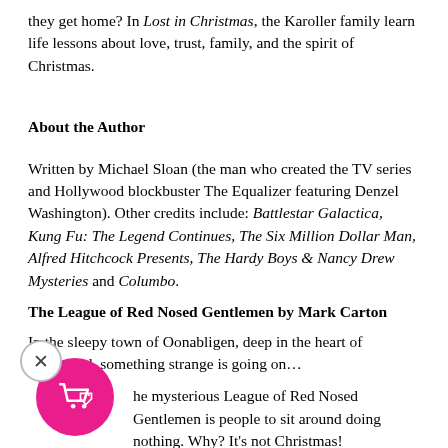they get home? In Lost in Christmas, the Karoller family learn life lessons about love, trust, family, and the spirit of Christmas.
About the Author
Written by Michael Sloan (the man who created the TV series and Hollywood blockbuster The Equalizer featuring Denzel Washington). Other credits include: Battlestar Galactica, Kung Fu: The Legend Continues, The Six Million Dollar Man, Alfred Hitchcock Presents, The Hardy Boys & Nancy Drew Mysteries and Columbo.
The League of Red Nosed Gentlemen by Mark Carton
In the sleepy town of Oonabligen, deep in the heart of Greenland, something strange is going on…
The mysterious League of Red Nosed Gentlemen is people to sit around doing nothing. Why? It's not Christmas!
Well, it's always kind of Christmas in Oonabligen. When